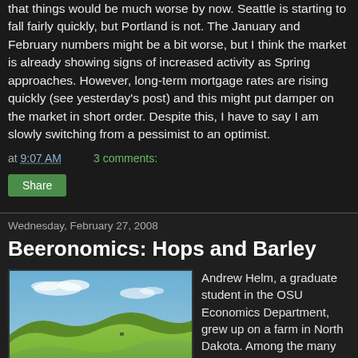that things would be much worse by now. Seattle is starting to fall fairly quickly, but Portland is not. The January and February numbers might be a bit worse, but I think the market is already showing signs of increased activity as Spring approaches. However, long-term mortgage rates are rising quickly (see yesterday's post) and this might put damper on the market in short order. Despite this, I have to say I am slowly switching from a pessimist to an optimist.
at 9:07 AM   3 comments:
Share
Wednesday, February 27, 2008
Beeronomics: Hops and Barley
[Figure (photo): Rolling green agricultural hills under a blue sky with a few clouds, likely a grain or hop field]
Andrew Helm, a graduate student in the OSU Economics Department, grew up on a farm in North Dakota. Among the many crops his family farm